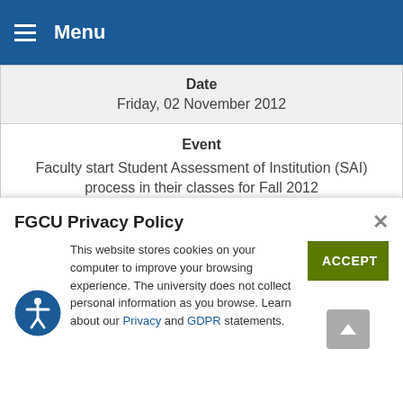Menu
| Date | Friday, 02 November 2012 |
| Event | Faculty start Student Assessment of Institution (SAI) process in their classes for Fall 2012 |
| Date | Monday, 05 November 2012 |
FGCU Privacy Policy
This website stores cookies on your computer to improve your browsing experience. The university does not collect personal information as you browse. Learn about our Privacy and GDPR statements.